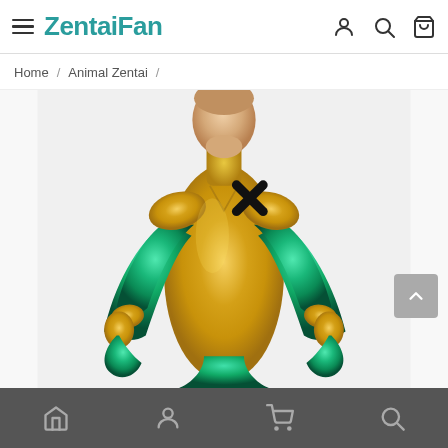ZentaiFan — navigation bar with hamburger menu, logo, user/search/cart icons
Home / Animal Zentai /
[Figure (photo): Person wearing a gold and metallic green full-body zentai suit with a black X mark on the chest, arms held outward with green arm panels, photographed from slightly above waist level showing upper torso and arms]
Bottom navigation bar: Home, Account, Cart, Search